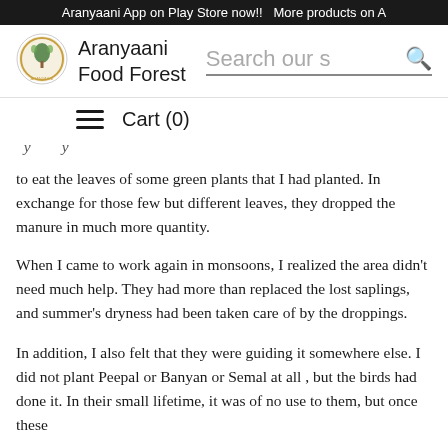Aranyaani App on Play Store now!!  More products on A
[Figure (logo): Aranyaani Food Forest circular logo with tree/leaf motif]
Aranyaani Food Forest
Search our s
Cart (0)
to eat the leaves of some green plants that I had planted. In exchange for those few but different leaves, they dropped the manure in much more quantity.
When I came to work again in monsoons, I realized the area didn't need much help. They had more than replaced the lost saplings, and summer's dryness had been taken care of by the droppings.
In addition, I also felt that they were guiding it somewhere else. I did not plant Peepal or Banyan or Semal at all , but the birds had done it. In their small lifetime, it was of no use to them, but once these